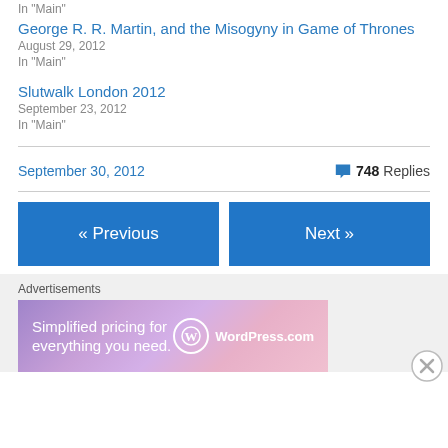In "Main"
George R. R. Martin, and the Misogyny in Game of Thrones
August 29, 2012
In "Main"
Slutwalk London 2012
September 23, 2012
In "Main"
September 30, 2012
748 Replies
« Previous
Next »
Advertisements
[Figure (illustration): WordPress.com advertisement banner with gradient purple-pink background, text 'Simplified pricing for everything you need.' and WordPress.com logo]